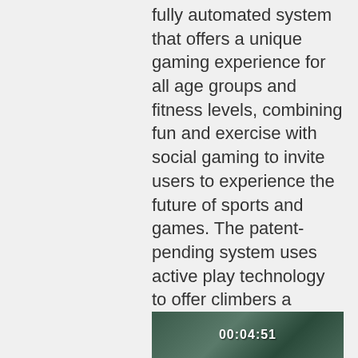fully automated system that offers a unique gaming experience for all age groups and fitness levels, combining fun and exercise with social gaming to invite users to experience the future of sports and games. The patent-pending system uses active play technology to offer climbers a hugely entertaining experience while simultaneously engaging them in an intense full-body workout and challenging them to keep improving. The platform also allows climbers to create their own routes using a touchscreen interface and share their workouts on social media.
[Figure (photo): A partially visible image at the bottom of the page showing what appears to be a dark-toned scene with a timer overlay showing '00:04:51' or similar timestamp]